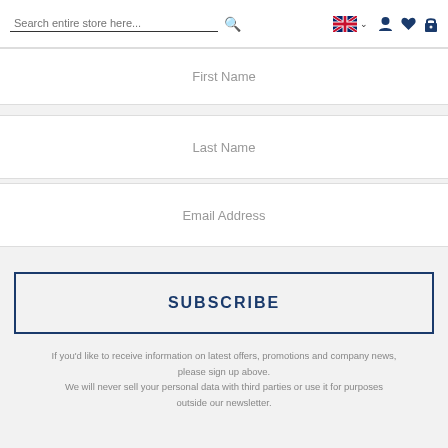Search entire store here...
First Name
Last Name
Email Address
SUBSCRIBE
If you'd like to receive information on latest offers, promotions and company news, please sign up above. We will never sell your personal data with third parties or use it for purposes outside our newsletter.